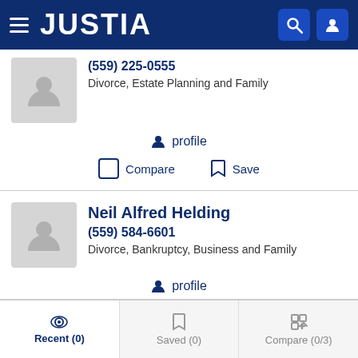[Figure (screenshot): Justia website navigation bar with hamburger menu, JUSTIA logo, search icon and user icon on dark blue background]
(559) 225-0555
Divorce, Estate Planning and Family
profile
Compare
Save
Neil Alfred Helding
(559) 584-6601
Divorce, Bankruptcy, Business and Family
profile
Compare
Save
Recent (0)
Saved (0)
Compare (0/3)